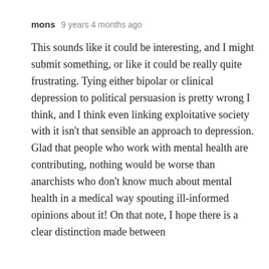mons   9 years 4 months ago
This sounds like it could be interesting, and I might submit something, or like it could be really quite frustrating. Tying either bipolar or clinical depression to political persuasion is pretty wrong I think, and I think even linking exploitative society with it isn't that sensible an approach to depression. Glad that people who work with mental health are contributing, nothing would be worse than anarchists who don't know much about mental health in a medical way spouting ill-informed opinions about it! On that note, I hope there is a clear distinction made between